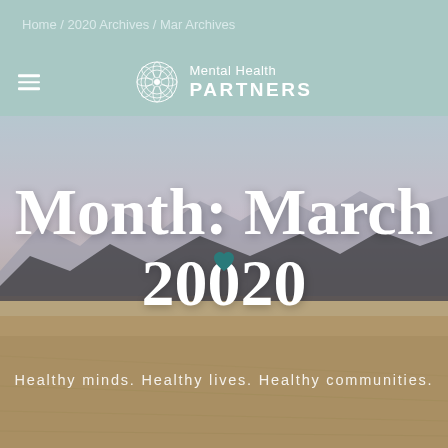Home / 2020 Archives / Mar Archives
[Figure (logo): Mental Health Partners logo with circular ornament icon and white text on teal background]
[Figure (photo): Mountain landscape background with plains and dramatic sky, overlaid with large white text 'Month: March 2020' and tagline 'Healthy minds. Healthy lives. Healthy communities.']
Month: March 2020
Healthy minds. Healthy lives. Healthy communities.